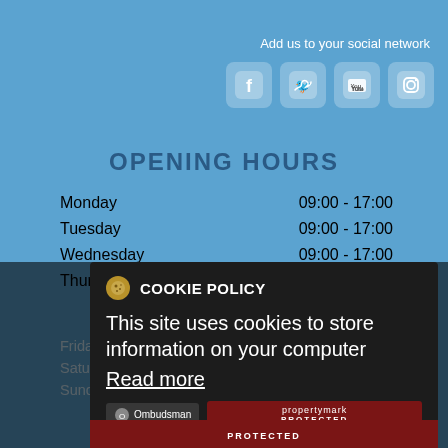Add us to your social network
[Figure (infographic): Social media icons: Facebook, Twitter, YouTube, Instagram]
OPENING HOURS
| Day | Hours |
| --- | --- |
| Monday | 09:00 - 17:00 |
| Tuesday | 09:00 - 17:00 |
| Wednesday | 09:00 - 17:00 |
| Thursday | 09:00 - 17:00 |
| Friday | 09:00 - 17:00 |
| Saturday | Closed |
| Sunday | Closed |
COOKIE POLICY
This site uses cookies to store information on your computer
Read more
OK